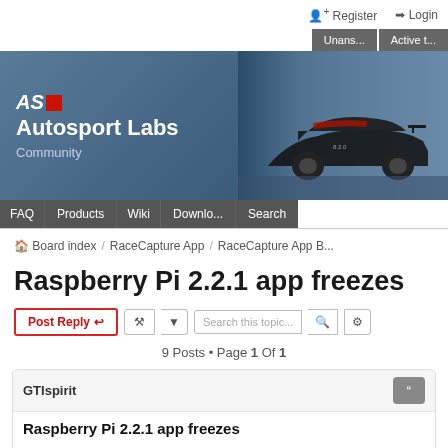Register  Login
Unans...  Active t...
[Figure (screenshot): Autosport Labs Community banner with logo and racing car photo]
FAQ  Products  Wiki  Downlo...  Search
Board index / RaceCapture App / RaceCapture App B...
Raspberry Pi 2.2.1 app freezes
Post Reply  [tools]  Search this topic...  9 Posts • Page 1 Of 1
GTIspirit
Raspberry Pi 2.2.1 app freezes